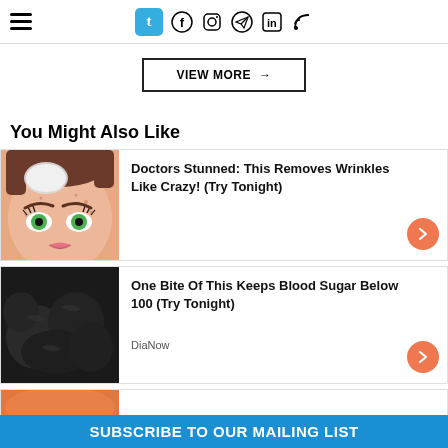Navigation header with hamburger menu and social icons: Tumblr, Facebook, Instagram, Telegram, LinkedIn, RSS
VIEW MORE →
You Might Also Like
[Figure (illustration): Cartoon illustration of a woman's face with freckles and green eyes, with a white cotton pad near her eye]
Doctors Stunned: This Removes Wrinkles Like Crazy! (Try Tonight)
[Figure (photo): Photo of dark black dried food or mushroom pieces]
One Bite Of This Keeps Blood Sugar Below 100 (Try Tonight)
DiaNow
SUBSCRIBE TO OUR MAILING LIST